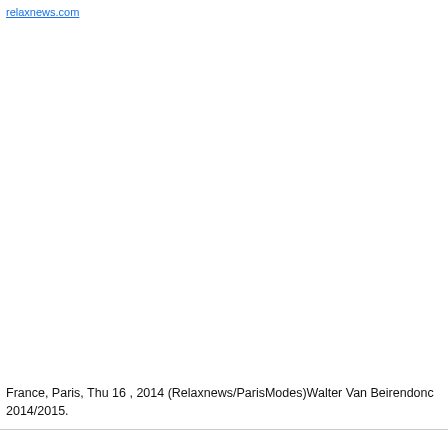relaxnews.com
France, Paris, Thu 16 , 2014 (Relaxnews/ParisModes)Walter Van Beirendonck 2014/2015.